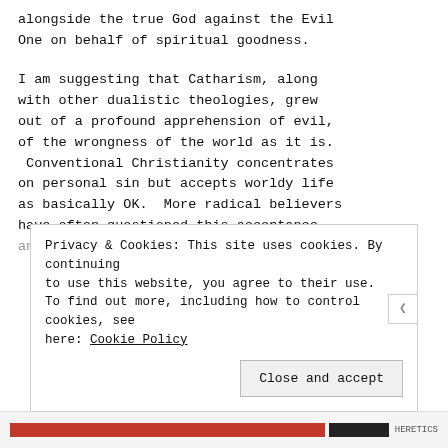alongside the true God against the Evil One on behalf of spiritual goodness.
I am suggesting that Catharism, along with other dualistic theologies, grew out of a profound apprehension of evil, of the wrongness of the world as it is.  Conventional Christianity concentrates on personal sin but accepts worldy life as basically OK.  More radical believers have often questioned this acceptance and tried to make sense of a world-gone-
Privacy & Cookies: This site uses cookies. By continuing to use this website, you agree to their use.
To find out more, including how to control cookies, see here: Cookie Policy
Close and accept